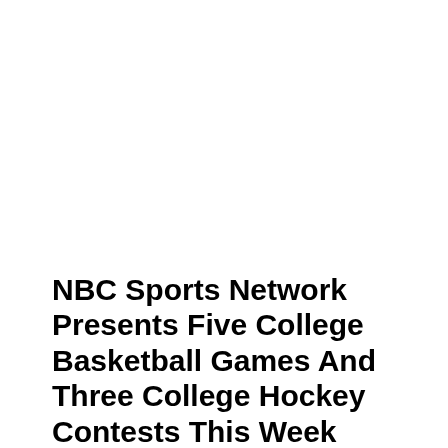NBC Sports Network Presents Five College Basketball Games And Three College Hockey Contests This Week